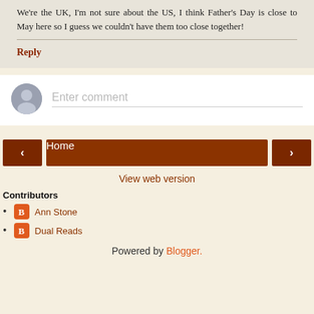We're the UK, I'm not sure about the US, I think Father's Day is close to May here so I guess we couldn't have them too close together!
Reply
Enter comment
Home
View web version
Contributors
Ann Stone
Dual Reads
Powered by Blogger.